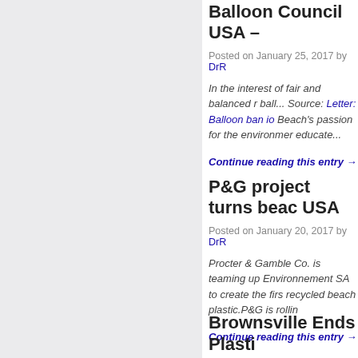Balloon Council USA –
Posted on January 25, 2017 by DrR
In the interest of fair and balanced r ball... Source: Letter: Balloon ban io Beach's passion for the environmer educate...
Continue reading this entry →
P&G project turns beac USA
Posted on January 20, 2017 by DrR
Procter & Gamble Co. is teaming up Environnement SA to create the firs recycled beach plastic.P&G is rollin
Continue reading this entry →
Brownsville Ends Plasti